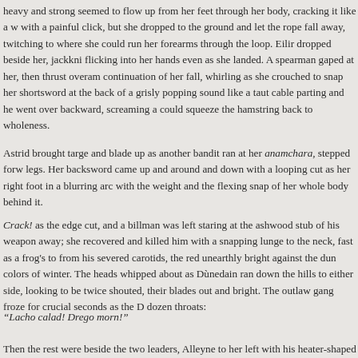heavy and strong seemed to flow up from her feet through her body, cracking it like a w with a painful click, but she dropped to the ground and let the rope fall away, twitching to where she could run her forearms through the loop. Eilir dropped beside her, jackkni flicking into her hands even as she landed. A spearman gaped at her, then thrust overam continuation of her fall, whirling as she crouched to snap her shortsword at the back of a grisly popping sound like a taut cable parting and he went over backward, screaming a could squeeze the hamstring back to wholeness.
Astrid brought targe and blade up as another bandit ran at her anamchara, stepped forw legs. Her backsword came up and around and down with a looping cut as her right foot in a blurring arc with the weight and the flexing snap of her whole body behind it.
Crack! as the edge cut, and a billman was left staring at the ashwood stub of his weapon away; she recovered and killed him with a snapping lunge to the neck, fast as a frog's to from his severed carotids, the red unearthly bright against the dun colors of winter. The heads whipped about as Dùnedain ran down the hills to either side, looking to be twice shouted, their blades out and bright. The outlaw gang froze for crucial seconds as the D dozen throats:
“Lacho calad! Drego morn!”
Then the rest were beside the two leaders, Alleyne to her left with his heater-shaped shi